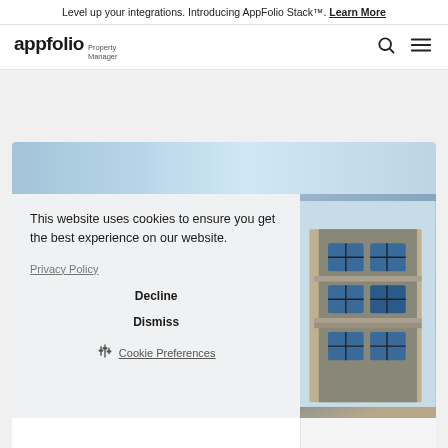Level up your integrations. Introducing AppFolio Stack™. Learn More
[Figure (logo): AppFolio Property Manager logo with search and menu icons]
[Figure (photo): Apartment building exterior photo strip showing sky and trees]
This website uses cookies to ensure you get the best experience on our website. Privacy Policy
Decline
Dismiss
Cookie Preferences
[Figure (photo): Apartment building exterior with blue windows and gray facade]
Veteran Multifamily